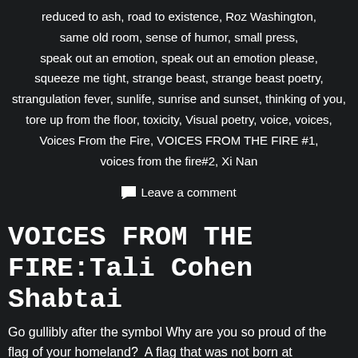reduced to ash, road to existence, Roz Washington, same old room, sense of humor, small press, speak out an emotion, speak out an emotion please, squeeze me tight, strange beast, strange beast poetry, strangulation fever, sunlife, sunrise and sunset, thinking of you, tore up from the floor, toxicity, Visual poetry, voice, voices, Voices From the Fire, VOICES FROM THE FIRE #1, voices from the fire#2, Xi Nan
Leave a comment
VOICES FROM THE FIRE:Tali Cohen Shabtai
Go gullibly after the symbol Why are you so proud of the flag of your homeland?  A flag that was not born at